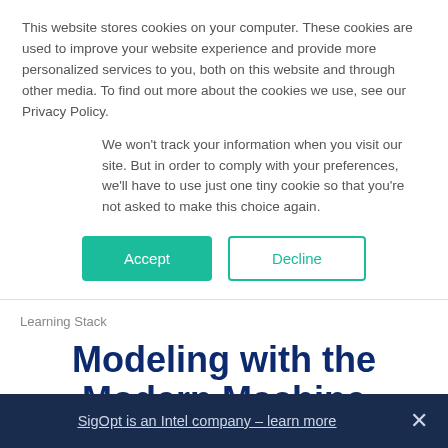This website stores cookies on your computer. These cookies are used to improve your website experience and provide more personalized services to you, both on this website and through other media. To find out more about the cookies we use, see our Privacy Policy.
We won't track your information when you visit our site. But in order to comply with your preferences, we'll have to use just one tiny cookie so that you're not asked to make this choice again.
Accept
Decline
Learning Stack
Modeling with the Modern Machine Learning Stack
Scott Clark and Nick Rost...
SigOpt is an Intel company – learn more